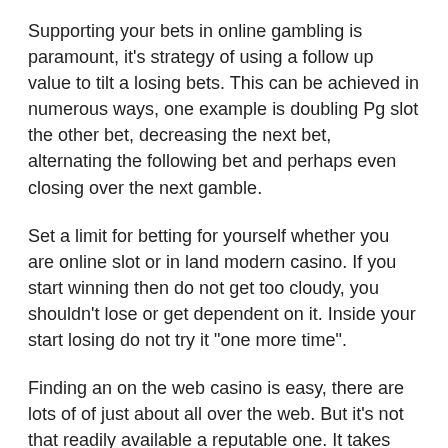Supporting your bets in online gambling is paramount, it’s strategy of using a follow up value to tilt a losing bets. This can be achieved in numerous ways, one example is doubling Pg slot the other bet, decreasing the next bet, alternating the following bet and perhaps even closing over the next gamble.
Set a limit for betting for yourself whether you are online slot or in land modern casino. If you start winning then do not get too cloudy, you shouldn’t lose or get dependent on it. Inside your start losing do not try it “one more time”.
Finding an on the web casino is easy, there are lots of of just about all over the web. But it’s not that readily available a reputable one. It takes more effort to for a long period on which online casino or gaming site work best for a. The most important factors that you need to look for in internet casino before registering and making your online